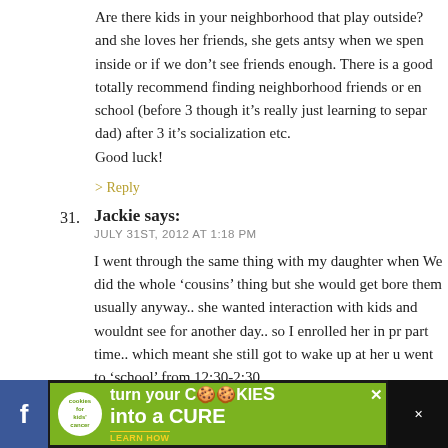Are there kids in your neighborhood that play outside? and she loves her friends, she gets antsy when we spend inside or if we don't see friends enough. There is a good totally recommend finding neighborhood friends or en school (before 3 though it's really just learning to separ dad) after 3 it's socialization etc.
Good luck!
> Reply
31. Jackie says:
JULY 31ST, 2012 AT 1:18 PM
I went through the same thing with my daughter when We did the whole 'cousins' thing but she would get bore them usually anyway.. she wanted interaction with kids and wouldnt see for another day.. so I enrolled her in pr part time.. which meant she still got to wake up at her u went to 'school' from 12:30-2:30..
When they are that young the teachers usually try to te
[Figure (screenshot): Advertisement banner at bottom: 'cookies for kids cancer - turn your COOKIES into a CURE LEARN HOW' on green background with social media icons]